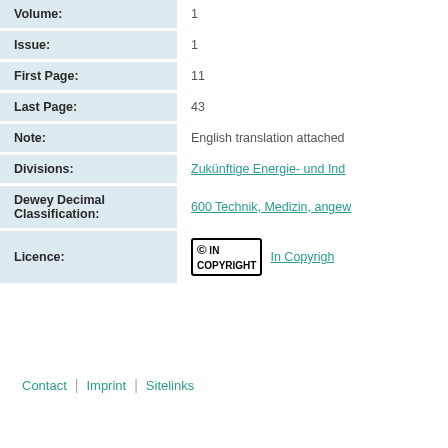| Field | Value |
| --- | --- |
| Volume: | 1 |
| Issue: | 1 |
| First Page: | 11 |
| Last Page: | 43 |
| Note: | English translation attached |
| Divisions: | Zukünftige Energie- und Ind... |
| Dewey Decimal Classification: | 600 Technik, Medizin, angew... |
| Licence: | In Copyright |
Contact | Imprint | Sitelinks